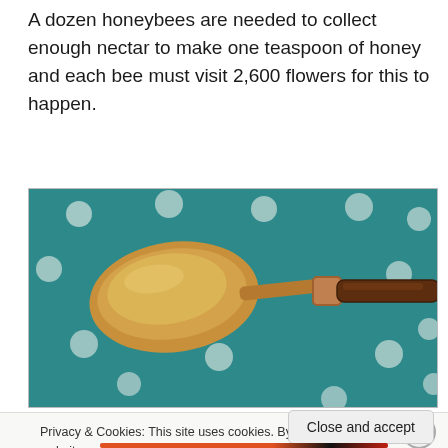A dozen honeybees are needed to collect enough nectar to make one teaspoon of honey and each bee must visit 2,600 flowers for this to happen.
[Figure (photo): A close-up photo of a teaspoon filled with honey (golden/amber colored) resting on a teal blue surface with white polka dots. The spoon has a copper-colored bowl and a dark wooden handle with a metal collar.]
Privacy & Cookies: This site uses cookies. By continuing to use this website, you agree to their use.
To find out more, including how to control cookies, see here: Cookie Policy
Close and accept